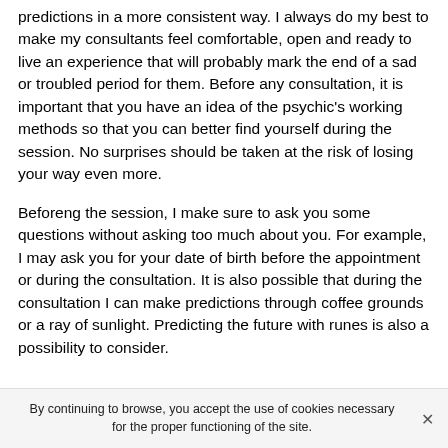predictions in a more consistent way. I always do my best to make my consultants feel comfortable, open and ready to live an experience that will probably mark the end of a sad or troubled period for them. Before any consultation, it is important that you have an idea of the psychic's working methods so that you can better find yourself during the session. No surprises should be taken at the risk of losing your way even more.
Beforeng the session, I make sure to ask you some questions without asking too much about you. For example, I may ask you for your date of birth before the appointment or during the consultation. It is also possible that during the consultation I can make predictions through coffee grounds or a ray of sunlight. Predicting the future with runes is also a possibility to consider.
By continuing to browse, you accept the use of cookies necessary for the proper functioning of the site.